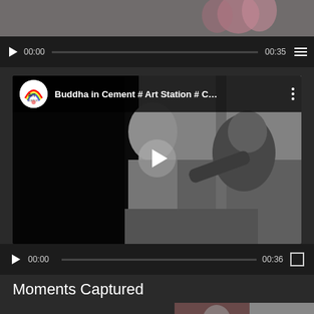[Figure (screenshot): Top portion of a video player showing partially cropped thumbnail of people]
[Figure (screenshot): Video player controls bar with play button, timecode 00:00, progress bar, duration 00:35, and menu icon]
[Figure (screenshot): Main embedded video player showing 'Buddha in Cement # Art Station # C...' with Art Station logo, black and white thumbnail of sculptor working on Buddha statue, and play button overlay]
[Figure (screenshot): Bottom video controls with play button, timecode 00:00, progress bar, duration 00:36, and fullscreen button]
Moments Captured
[Figure (screenshot): Bottom strip showing Art Station logo thumbnail on left with text 'Art Station', a second thumbnail in middle, and TrustedSite badge on right]